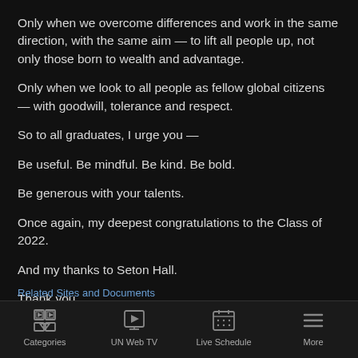Only when we overcome differences and work in the same direction, with the same aim — to lift all people up, not only those born to wealth and advantage.
Only when we look to all people as fellow global citizens — with goodwill, tolerance and respect.
So to all graduates, I urge you —
Be useful. Be mindful. Be kind. Be bold.
Be generous with your talents.
Once again, my deepest congratulations to the Class of 2022.
And my thanks to Seton Hall.
Thank you.
Categories | UN Web TV | Live Schedule | More